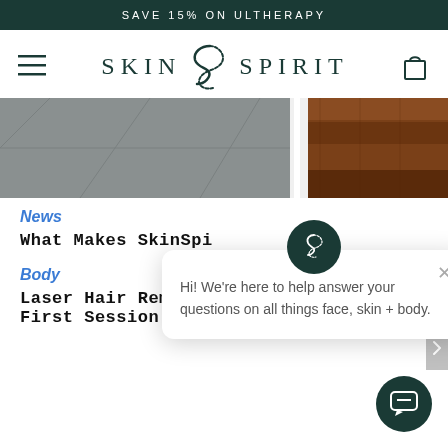SAVE 15% ON ULTHERAPY
[Figure (logo): SkinSpirit logo with stylized S icon, navigation hamburger menu on left and shopping bag icon on right]
[Figure (photo): Interior flooring image showing grey tiles on the left and dark hardwood on the right separated by white baseboard]
News
What Makes SkinSpi
Body
Laser Hair Removal Diaries Part II – First Session with Kavina
[Figure (screenshot): Chat popup widget with SkinSpirit avatar and message: Hi! We're here to help answer your questions on all things face, skin + body.]